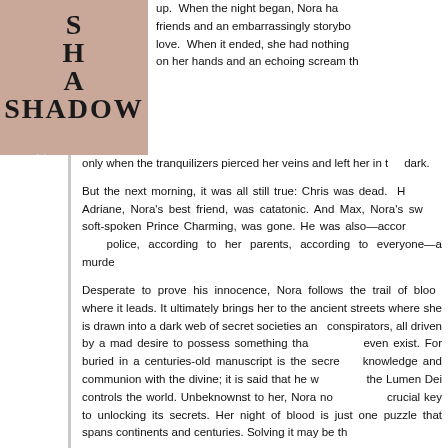[Figure (illustration): Book cover showing title 'SHADOW' with author name 'robin wasserman' on a pinkish-tan background]
up. When the night began, Nora had friends and an embarrassingly storybook love. When it ended, she had nothing on her hands and an echoing scream that stopped only when the tranquilizers pierced her veins and left her in the dark.

But the next morning, it was all still true: Chris was dead. His twin, Adriane, Nora's best friend, was catatonic. And Max, Nora's sweet, soft-spoken Prince Charming, was gone. He was also—according to the police, according to her parents, according to everyone—a murderer.

Desperate to prove his innocence, Nora follows the trail of blood wherever it leads. It ultimately brings her to the ancient streets where she is drawn into a dark web of secret societies and conspirators, all driven by a mad desire to possess something that may not even exist. For buried in a centuries-old manuscript is the secret to knowledge and communion with the divine; it is said that he who holds the Lumen Dei controls the world. Unbeknownst to her, Nora now holds a crucial key to unlocking its secrets. Her night of blood is just one piece of a puzzle that spans continents and centuries. Solving it may be th